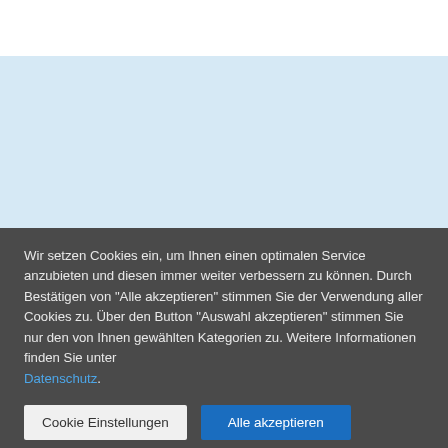[Figure (other): White top area followed by a light blue background section representing a webpage header area]
Wir setzen Cookies ein, um Ihnen einen optimalen Service anzubieten und diesen immer weiter verbessern zu können. Durch Bestätigen von "Alle akzeptieren" stimmen Sie der Verwendung aller Cookies zu. Über den Button "Auswahl akzeptieren" stimmen Sie nur den von Ihnen gewählten Kategorien zu. Weitere Informationen finden Sie unter Datenschutz.
Cookie Einstellungen
Alle akzeptieren